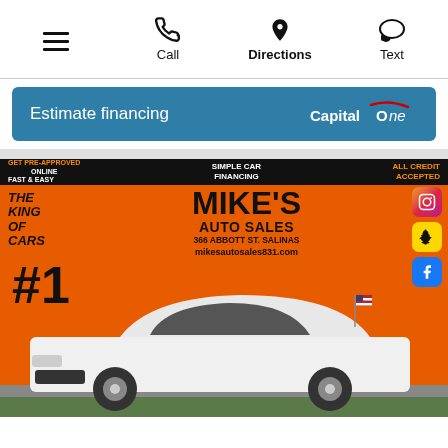≡  Call  Directions  Text
Estimate financing  Capital One
[Figure (photo): Mike's Auto Sales dealer advertisement showing a white Audi Q7 SUV parked in front of a large orange and black banner. Banner reads: GET PRE-APPROVED ONLINE FAST & EASY | SIMPLE CAR FINANCING | ALL CREDIT ACCEPTED | THE KING OF CARS | MIKE'S AUTO SALES | 366 ABBOTT ST. SALINAS | mikesautosales831.com | #1. Social media icons (Instagram, Snapchat, Facebook) visible on the right side of the banner.]